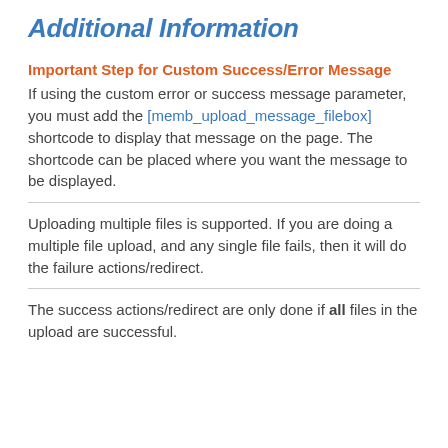Additional Information
Important Step for Custom Success/Error Message
If using the custom error or success message parameter, you must add the [memb_upload_message_filebox] shortcode to display that message on the page. The shortcode can be placed where you want the message to be displayed.
Uploading multiple files is supported. If you are doing a multiple file upload, and any single file fails, then it will do the failure actions/redirect.
The success actions/redirect are only done if all files in the upload are successful.